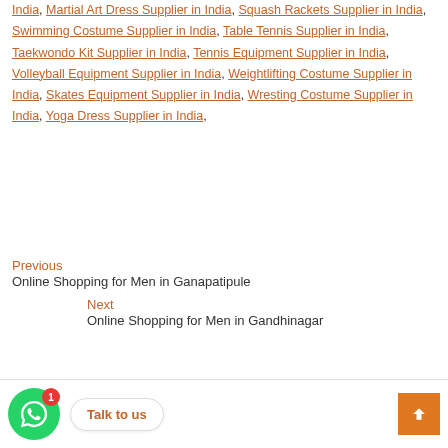India, Martial Art Dress Supplier in India, Squash Rackets Supplier in India, Swimming Costume Supplier in India, Table Tennis Supplier in India, Taekwondo Kit Supplier in India, Tennis Equipment Supplier in India, Volleyball Equipment Supplier in India, Weightlifting Costume Supplier in India, Skates Equipment Supplier in India, Wresting Costume Supplier in India, Yoga Dress Supplier in India,
Previous
Online Shopping for Men in Ganapatipule
Next
Online Shopping for Men in Gandhinagar